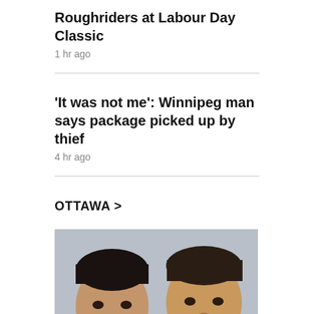Roughriders at Labour Day Classic
1 hr ago
'It was not me': Winnipeg man says package picked up by thief
4 hr ago
OTTAWA >
[Figure (photo): Mugshot-style photo of two men side by side against a light grey background]